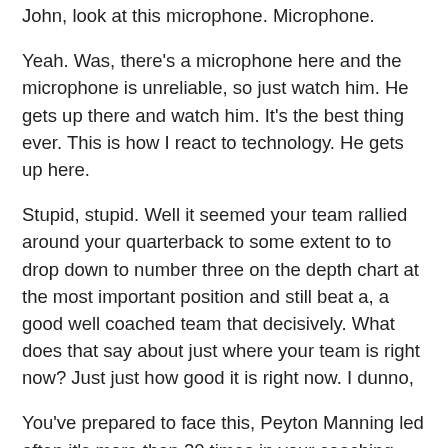John, look at this microphone. Microphone.
Yeah. Was, there's a microphone here and the microphone is unreliable, so just watch him. He gets up there and watch him. It's the best thing ever. This is how I react to technology. He gets up here.
Stupid, stupid. Well it seemed your team rallied around your quarterback to some extent to to drop down to number three on the depth chart at the most important position and still beat a, a good well coached team that decisively. What does that say about just where your team is right now? Just just how good it is right now. I dunno,
You've prepared to face this, Peyton Manning led often it's more than 20 times in your coaching career. Is there one common thread that stands out to you over the years?
I guess man.
Great. Then you said Sean, we visited you as a kid when we